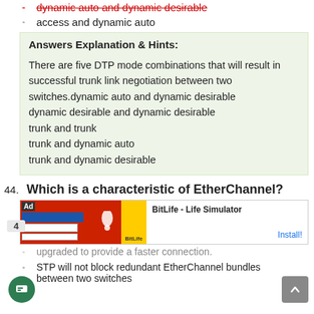dynamic auto and dynamic desirable (strikethrough, red)
access and dynamic auto
Answers Explanation & Hints:

There are five DTP mode combinations that will result in successful trunk link negotiation between two switches.dynamic auto and dynamic desirable
dynamic desirable and dynamic desirable
trunk and trunk
trunk and dynamic auto
trunk and dynamic desirable
44. Which is a characteristic of EtherChannel?
[Figure (screenshot): Advertisement for BitLife - Life Simulator with Install button]
upgraded to provide a faster connection.
STP will not block redundant EtherChannel bundles between two switches.